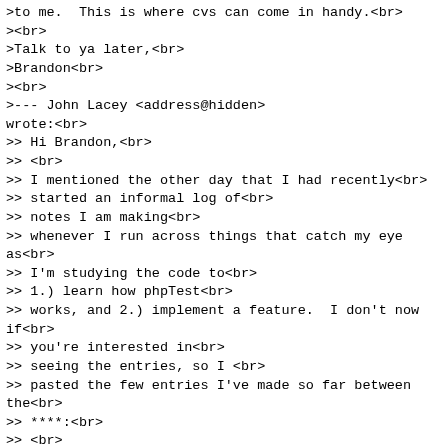&gt;to me.  This is where cvs can come in handy.<br>
&gt;<br>
&gt;Talk to ya later,<br>
&gt;Brandon<br>
&gt;<br>
&gt;--- John Lacey &lt;address@hidden&gt; wrote:<br>
&gt;&gt; Hi Brandon,<br>
&gt;&gt; <br>
&gt;&gt; I mentioned the other day that I had recently<br>
&gt;&gt; started an informal log of<br>
&gt;&gt; notes I am making<br>
&gt;&gt; whenever I run across things that catch my eye as<br>
&gt;&gt; I'm studying the code to<br>
&gt;&gt; 1.) learn how phpTest<br>
&gt;&gt; works, and 2.) implement a feature.  I don't now if<br>
&gt;&gt; you're interested in<br>
&gt;&gt; seeing the entries, so I <br>
&gt;&gt; pasted the few entries I've made so far between the<br>
&gt;&gt; ****:<br>
&gt;&gt; <br>
&gt;&gt; ********************<br>
&gt;&gt; This is a log of &quot;possible&quot; issues/problems/concerns<br>
&gt;&gt; encountered while<br>
&gt;&gt; studying phpTest -- started 6/30/02<br>